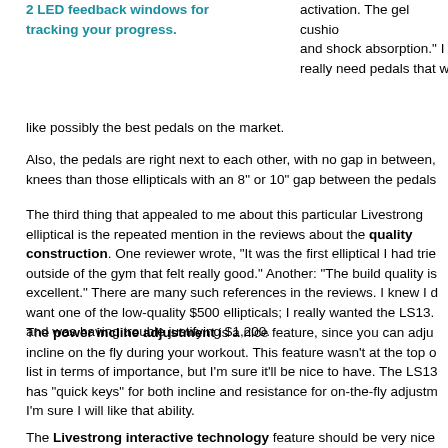2 LED feedback windows for tracking your progress.
activation. The gel cushioning and shock absorption. I really need pedals that w... like possibly the best pedals on the market.
Also, the pedals are right next to each other, with no gap in between, knees than those ellipticals with an 8" or 10" gap between the pedals
The third thing that appealed to me about this particular Livestrong elliptical is the repeated mention in the reviews about the quality construction. One reviewer wrote, "It was the first elliptical I had trie... outside of the gym that felt really good." Another: "The build quality is excellent." There are many such references in the reviews. I knew I d... want one of the low-quality $500 ellipticals; I really wanted the LS13... and was having trouble justifying $1,200.
The power incline adjustment is a nice feature, since you can adju... incline on the fly during your workout. This feature wasn't at the top o... list in terms of importance, but I'm sure it'll be nice to have. The LS13... has "quick keys" for both incline and resistance for on-the-fly adjustm... I'm sure I will like that ability.
The Livestrong interactive technology feature should be very nice